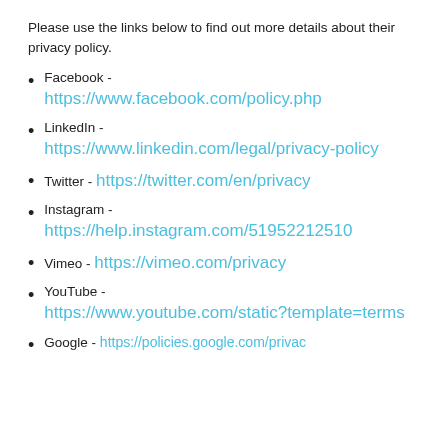Please use the links below to find out more details about their privacy policy.
Facebook - https://www.facebook.com/policy.php
LinkedIn - https://www.linkedin.com/legal/privacy-policy
Twitter - https://twitter.com/en/privacy
Instagram - https://help.instagram.com/519522125106496
Vimeo - https://vimeo.com/privacy
YouTube - https://www.youtube.com/static?template=terms
Google - https://policies.google.com/privacy